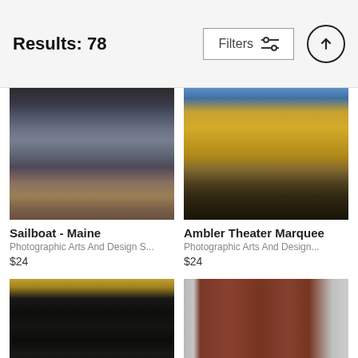Results: 78
Filters
[Figure (photo): Rocky coastline with waves crashing over large boulders and rocks]
Sailboat - Maine
Photographic Arts And Design S...
$24
[Figure (photo): Ambler Theater marquee sign on building facade at night with golden lighting]
Ambler Theater Marquee
Photographic Arts And Design...
$24
[Figure (photo): Dark forest scene with tall dark tree trunks and autumn leaves]
[Figure (photo): Old wooden door with iron ring knocker set in stone wall]